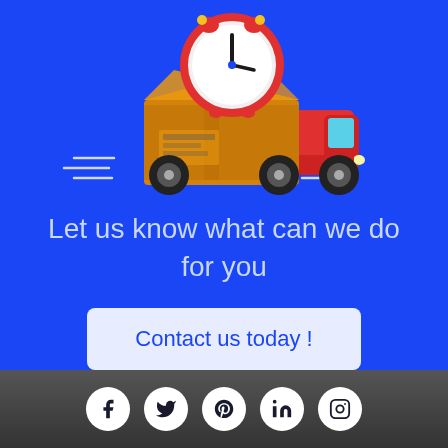[Figure (illustration): Delivery truck with a large cardboard box on top and a red alarm clock, depicted in a cartoon flat style on blue background]
Let us know what can we do for you
Contact us today !
[Figure (illustration): Row of five social media icons (Facebook, Twitter, Pinterest, LinkedIn, Instagram) as white circles with dark logos on dark footer]